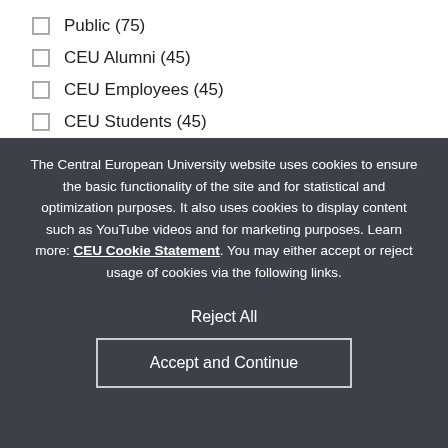Public (75)
CEU Alumni (45)
CEU Employees (45)
CEU Students (45)
Invited Guests (17)
The Central European University website uses cookies to ensure the basic functionality of the site and for statistical and optimization purposes. It also uses cookies to display content such as YouTube videos and for marketing purposes. Learn more: CEU Cookie Statement. You may either accept or reject usage of cookies via the following links.
Reject All
Accept and Continue